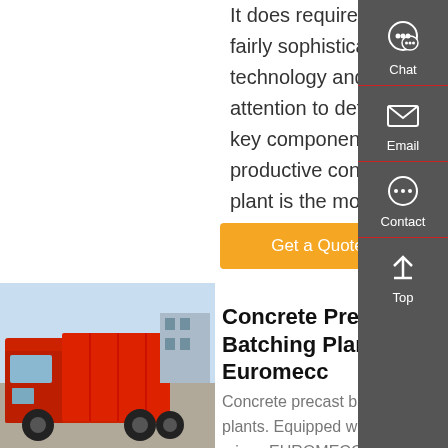It does require some fairly sophisticated technology and attention to detail. A key component of any productive concrete plant is the moisture sensor.
Get a Quote
[Figure (photo): Red dump truck / concrete plant vehicle parked outdoors]
Concrete Precast Batching Plants - Euromecc
Concrete precast batching plants. Equipped with planet mixer, EUROMECC precast